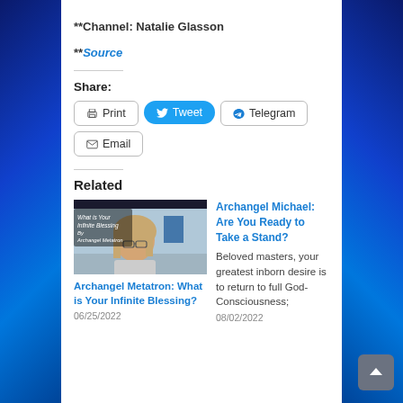**Channel: Natalie Glasson
**Source
Share:
Print  Tweet  Telegram  Email
Related
[Figure (photo): Video thumbnail showing a woman with blonde hair and glasses with text overlay 'What is Your Infinite Blessing By Archangel Metatron']
Archangel Metatron: What is Your Infinite Blessing?
06/25/2022
Archangel Michael: Are You Ready to Take a Stand?
Beloved masters, your greatest inborn desire is to return to full God-Consciousness;
08/02/2022